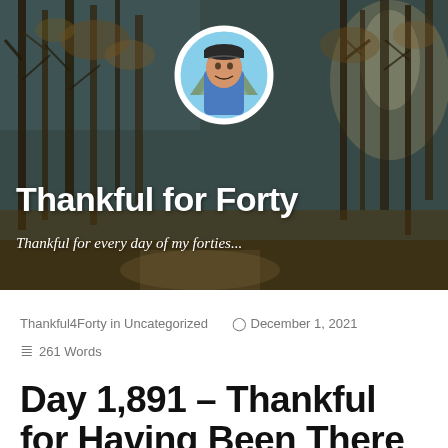[Figure (photo): Blog header image showing an autumn forest with bare trees, sunlight, and fallen leaves. A circular avatar photo of a man wearing a blue jacket and cap is overlaid in the center-top. The blog title 'Thankful for Forty' and subtitle 'Thankful for every day of my forties...' appear in white text over the photo.]
Thankful4Forty in Uncategorized   December 1, 2021   261 Words
Day 1,891 – Thankful for Having Been There